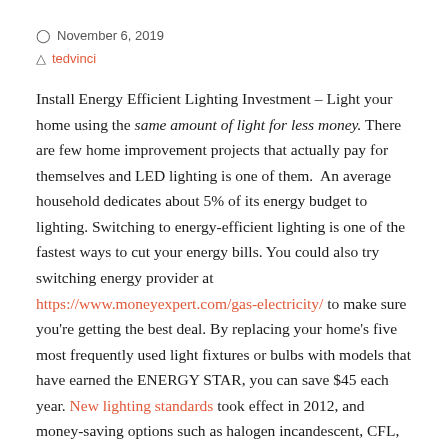November 6, 2019
tedvinci
Install Energy Efficient Lighting Investment – Light your home using the same amount of light for less money. There are few home improvement projects that actually pay for themselves and LED lighting is one of them.  An average household dedicates about 5% of its energy budget to lighting. Switching to energy-efficient lighting is one of the fastest ways to cut your energy bills. You could also try switching energy provider at https://www.moneyexpert.com/gas-electricity/ to make sure you're getting the best deal. By replacing your home's five most frequently used light fixtures or bulbs with models that have earned the ENERGY STAR, you can save $45 each year. New lighting standards took effect in 2012, and money-saving options such as halogen incandescent, CFL, and LED